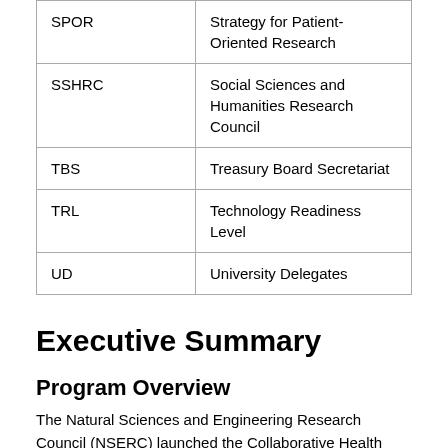| Abbreviation | Definition |
| --- | --- |
| SPOR | Strategy for Patient-Oriented Research |
| SSHRC | Social Sciences and Humanities Research Council |
| TBS | Treasury Board Secretariat |
| TRL | Technology Readiness Level |
| UD | University Delegates |
Executive Summary
Program Overview
The Natural Sciences and Engineering Research Council (NSERC) launched the Collaborative Health Research Projects (CHRP) program in 1999, while the Canadian Institutes of Health Research (CIHR) joined the program in 2004. The CHRP program supports interdisciplinary collaborative research